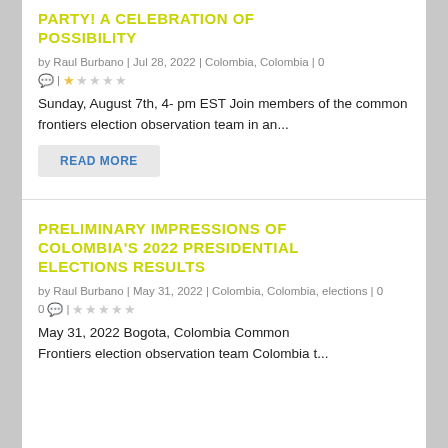PARTY! A CELEBRATION OF POSSIBILITY
by Raul Burbano | Jul 28, 2022 | Colombia, Colombia | 0
Sunday, August 7th, 4- pm EST Join members of the common frontiers election observation team in an...
READ MORE
PRELIMINARY IMPRESSIONS OF COLOMBIA'S 2022 PRESIDENTIAL ELECTIONS RESULTS
by Raul Burbano | May 31, 2022 | Colombia, Colombia, elections | 0
May 31, 2022 Bogota, Colombia Common Frontiers election observation team Colombia t...